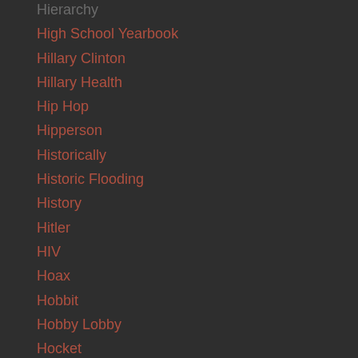Hierarchy
High School Yearbook
Hillary Clinton
Hillary Health
Hip Hop
Hipperson
Historically
Historic Flooding
History
Hitler
HIV
Hoax
Hobbit
Hobby Lobby
Hocket
Hockey
Hog Log
Hollywood
Holocaust Centers
Homeless
Homo